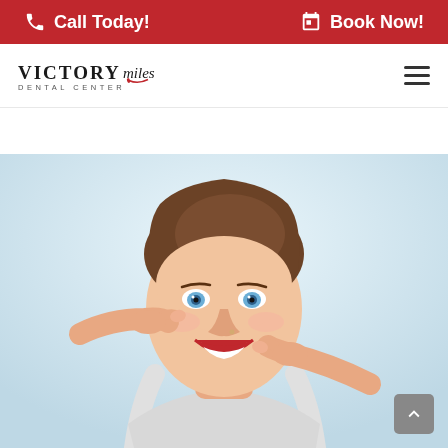Call Today! | Book Now!
[Figure (logo): Victory Smiles Dental Center logo with stylized script and red accent]
[Figure (photo): Young woman with brown hair smiling broadly and pointing to her cheeks/smile with both index fingers, against a light blue-white background]